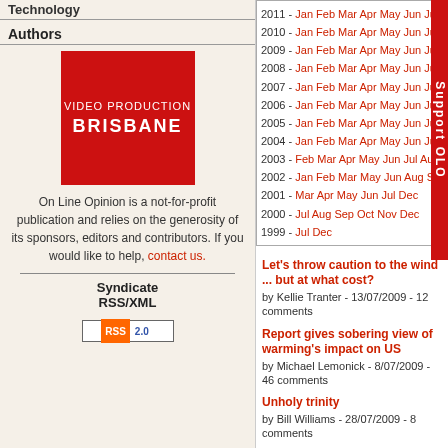Technology
Authors
[Figure (illustration): Red square advertisement for Video Production Brisbane]
On Line Opinion is a not-for-profit publication and relies on the generosity of its sponsors, editors and contributors. If you would like to help, contact us.
Syndicate RSS/XML
[Figure (logo): RSS 2.0 badge]
2011 - Jan Feb Mar Apr May Jun Jul Aug Sep Oct
2010 - Jan Feb Mar Apr May Jun Jul Aug Sep Oct
2009 - Jan Feb Mar Apr May Jun Jul Aug Sep Oct
2008 - Jan Feb Mar Apr May Jun Jul Aug Sep Oct
2007 - Jan Feb Mar Apr May Jun Jul Aug Sep Oct
2006 - Jan Feb Mar Apr May Jun Jul Aug Sep Oct
2005 - Jan Feb Mar Apr May Jun Jul Aug Sep Oct
2004 - Jan Feb Mar Apr May Jun Jul Aug Sep Oct
2003 - Feb Mar Apr May Jun Jul Aug Sep Oct Nov Dec
2002 - Jan Feb Mar May Jun Aug Sep Oct
2001 - Mar Apr May Jun Jul Dec
2000 - Jul Aug Sep Oct Nov Dec
1999 - Jul Dec
Let's throw caution to the wind ... but at what cost?
by Kellie Tranter - 13/07/2009 - 12 comments
Report gives sobering view of warming's impact on US
by Michael Lemonick - 8/07/2009 - 46 comments
Unholy trinity
by Bill Williams - 28/07/2009 - 8 comments
Forests - the essential climate fix
by Lucy Manne and Amelia Young - 1/07/2009 - 18 comments
Climate economics 101 and policy activism
by Robert Murphy - 29/07/2009 - 8 comments
Hungry world: a silent crisis calls for urgent action
by Marshall Bouton - 21/07/2009 - 14 comments